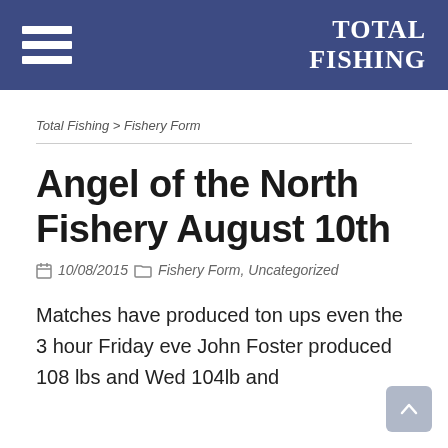TOTAL FISHING
Total Fishing > Fishery Form
Angel of the North Fishery August 10th
10/08/2015   Fishery Form, Uncategorized
Matches have produced ton ups even the 3 hour Friday eve John Foster produced 108 lbs and Wed 104lb and